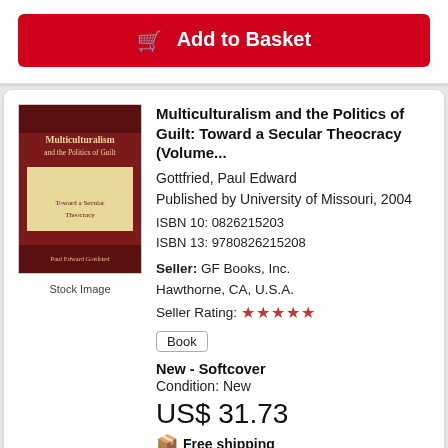[Figure (other): Add to Basket button (red rounded rectangle with shopping cart icon)]
[Figure (other): Book cover: Multiculturalism and the Politics of Guilt – Toward a Secular Theocracy by Paul Edward Gottfried, dark red cover with cream text panel]
Stock Image
Multiculturalism and the Politics of Guilt: Toward a Secular Theocracy (Volume...
Gottfried, Paul Edward
Published by University of Missouri, 2004
ISBN 10: 0826215203
ISBN 13: 9780826215208
Seller: GF Books, Inc.
Hawthorne, CA, U.S.A.
Seller Rating: ★★★★★
Book
New - Softcover
Condition: New
US$ 31.73
Free shipping